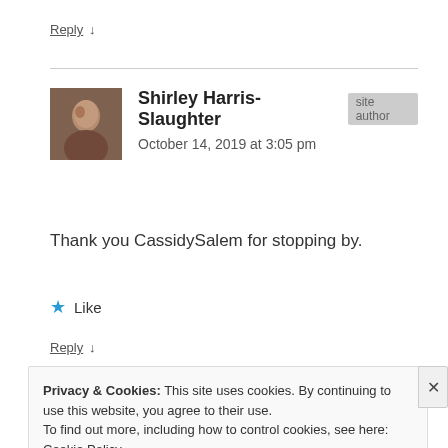Reply ↓
Shirley Harris-Slaughter | site author | October 14, 2019 at 3:05 pm
Thank you CassidySalem for stopping by.
★ Like
Reply ↓
Privacy & Cookies: This site uses cookies. By continuing to use this website, you agree to their use.
To find out more, including how to control cookies, see here: Cookie Policy